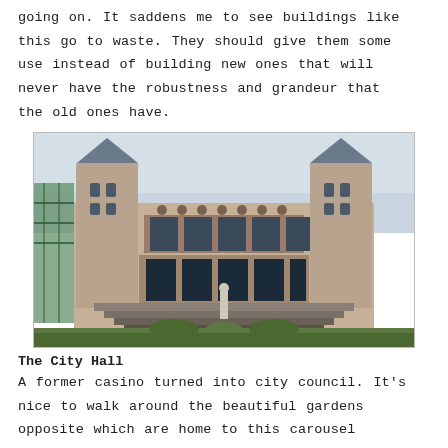going on. It saddens me to see buildings like this go to waste. They should give them some use instead of building new ones that will never have the robustness and grandeur that the old ones have.
[Figure (photo): Photograph of a large historic building with two tall towers topped with pointed roofs, Romanesque arched facade, grand staircase, and statue at the entrance. Scaffolding visible on the left. Green lawn and gardens in foreground.]
The City Hall
A former casino turned into city council. It's nice to walk around the beautiful gardens opposite which are home to this carousel